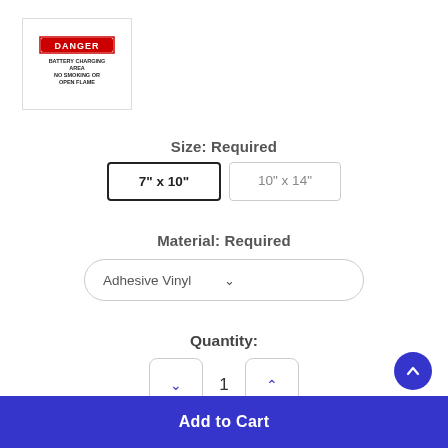[Figure (photo): Product thumbnail showing a DANGER sign: Battery Charging Area, No Smoking or Open Flame — red and black text on white background with red bordered DANGER header]
Size:  Required
7" x 10"
10" x 14"
Material:  Required
Adhesive Vinyl
Quantity:
1
Add to Cart